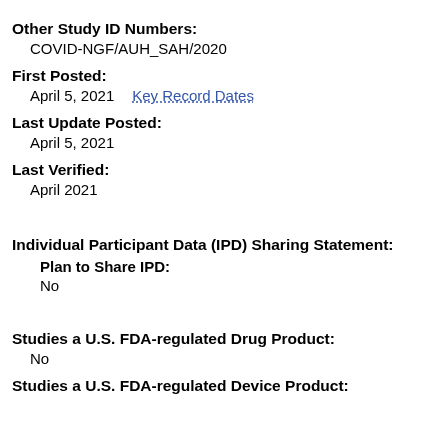Other Study ID Numbers:
COVID-NGF/AUH_SAH/2020
First Posted:
April 5, 2021   Key Record Dates
Last Update Posted:
April 5, 2021
Last Verified:
April 2021
Individual Participant Data (IPD) Sharing Statement:
Plan to Share IPD:
No
Studies a U.S. FDA-regulated Drug Product:
No
Studies a U.S. FDA-regulated Device Product: